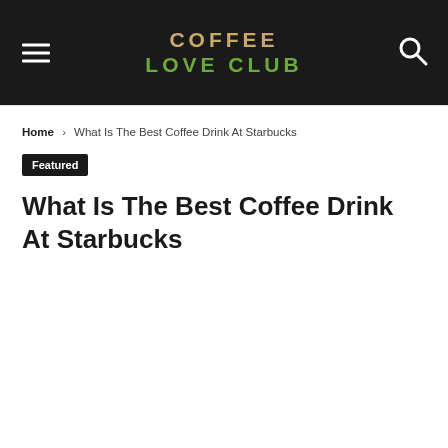COFFEE LOVE CLUB
Home › What Is The Best Coffee Drink At Starbucks
Featured
What Is The Best Coffee Drink At Starbucks